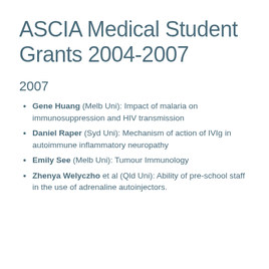ASCIA Medical Student Grants 2004-2007
2007
Gene Huang (Melb Uni): Impact of malaria on immunosuppression and HIV transmission
Daniel Raper (Syd Uni): Mechanism of action of IVIg in autoimmune inflammatory neuropathy
Emily See (Melb Uni): Tumour Immunology
Zhenya Welyczho et al (Qld Uni): Ability of pre-school staff in the use of adrenaline autoinjectors.